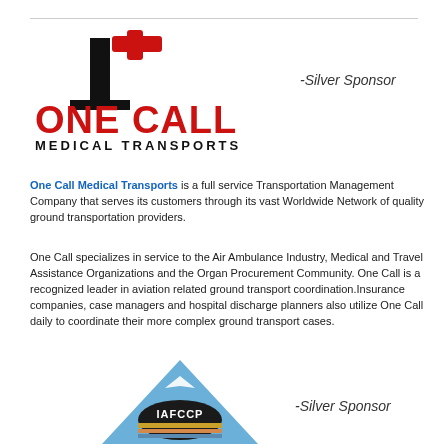[Figure (logo): One Call Medical Transports logo with red cross and bold red/black text]
-Silver Sponsor
One Call Medical Transports is a full service Transportation Management Company that serves its customers through its vast Worldwide Network of quality ground transportation providers.
One Call specializes in service to the Air Ambulance Industry, Medical and Travel Assistance Organizations and the Organ Procurement Community. One Call is a recognized leader in aviation related ground transport coordination.Insurance companies, case managers and hospital discharge planners also utilize One Call daily to coordinate their more complex ground transport cases.
[Figure (logo): IAFCCP triangular logo with blue mountain, airplane, and gold/orange horizontal stripes]
-Silver Sponsor